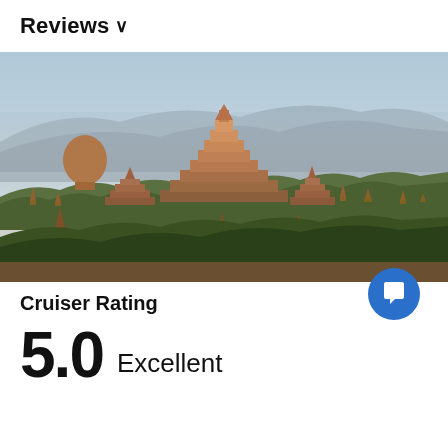Reviews ∨
[Figure (photo): Panoramic landscape photo of ancient Bagan temples and pagodas in Myanmar, with terracotta-colored brick stupas rising above green trees under a hazy blue sky with mountains in the background.]
Cruiser Rating
5.0  Excellent